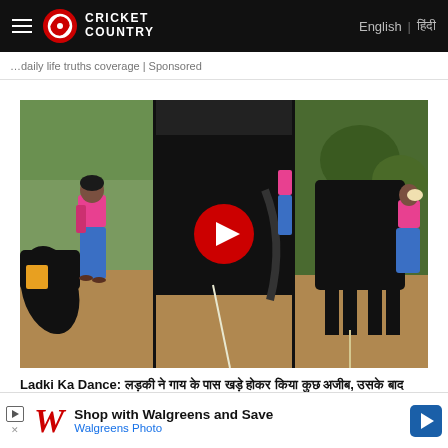Cricket Country | English | हिंदी
...daily life truths coverage | Sponsored
[Figure (screenshot): Video thumbnail showing three panels of a woman in pink top and blue jeans near a black cow/buffalo, with a red play button overlay in the center panel]
Ladki Ka Dance: गाय के पीछे खड़ी लड़की ने किया कुछ अजीब, उसके बाद जानवर ने जो किया वो देख सभी चौंक गए | वीडियो...
India.Com Hindi
[Figure (screenshot): Walgreens advertisement: Shop with Walgreens and Save - Walgreens Photo]